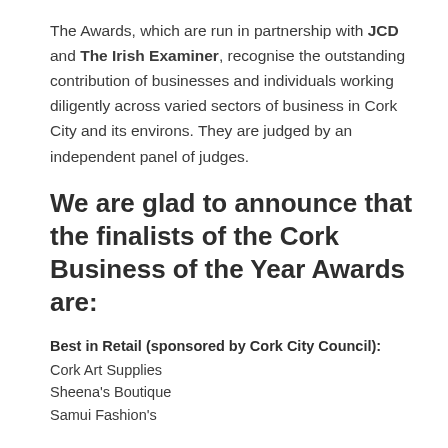The Awards, which are run in partnership with JCD and The Irish Examiner, recognise the outstanding contribution of businesses and individuals working diligently across varied sectors of business in Cork City and its environs. They are judged by an independent panel of judges.
We are glad to announce that the finalists of the Cork Business of the Year Awards are:
Best in Retail (sponsored by Cork City Council):
Cork Art Supplies
Sheena's Boutique
Samui Fashion's